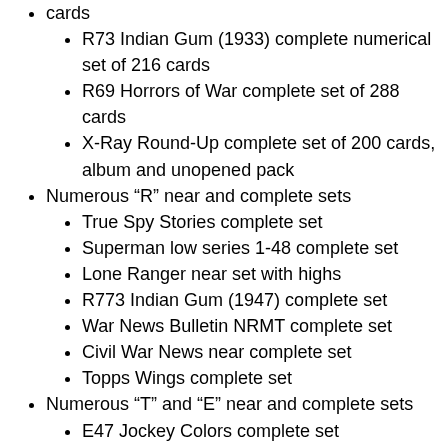cards
R73 Indian Gum (1933) complete numerical set of 216 cards
R69 Horrors of War complete set of 288 cards
X-Ray Round-Up complete set of 200 cards, album and unopened pack
Numerous “R” near and complete sets
True Spy Stories complete set
Superman low series 1-48 complete set
Lone Ranger near set with highs
R773 Indian Gum (1947) complete set
War News Bulletin NRMT complete set
Civil War News near complete set
Topps Wings complete set
Numerous “T” and “E” near and complete sets
E47 Jockey Colors complete set
T85-2 Strollers tobacco near set (92/100)
Numerous “N” near and complete sets including
N1 Allen & Ginter American Editors Complete